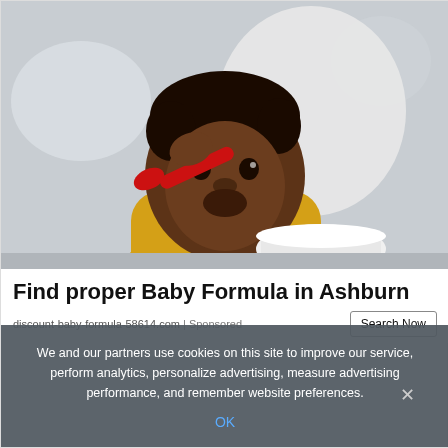[Figure (photo): A baby in a yellow outfit sitting in a high chair, holding a red spoon and eating from a white bowl, with a light gray background.]
Find proper Baby Formula in Ashburn
discount-baby-formula-58614.com | Sponsored
Search Now
We and our partners use cookies on this site to improve our service, perform analytics, personalize advertising, measure advertising performance, and remember website preferences.
OK